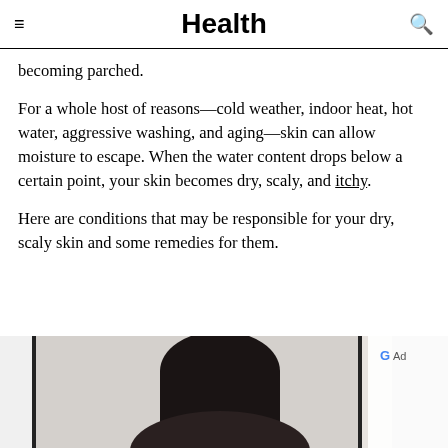Health
becoming parched.
For a whole host of reasons—cold weather, indoor heat, hot water, aggressive washing, and aging—skin can allow moisture to escape. When the water content drops below a certain point, your skin becomes dry, scaly, and itchy.
Here are conditions that may be responsible for your dry, scaly skin and some remedies for them.
[Figure (photo): Photo of a woman with dark hair, shown from mid-frame up against a light background with dark vertical frame elements on left side. An ad label and G logo appear in the top right corner.]